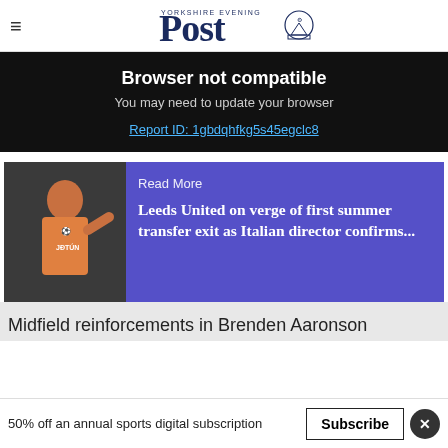Yorkshire Evening Post
Browser not compatible
You may need to update your browser
Report ID: 1gbdqhfkg5s45egclc8
[Figure (photo): Read More card with photo of Leeds United player in orange kit and purple background with text: Read More / Leeds United on verge of first summer transfer exit as Italian director confirms...]
Midfield reinforcements in Brenden Aaronson
50% off an annual sports digital subscription